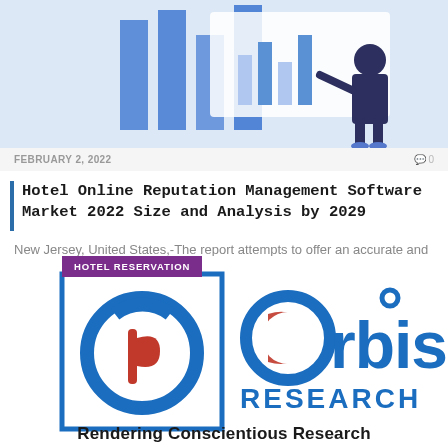[Figure (illustration): Illustration showing a person with bar charts and data analytics interface on a light blue background]
FEBRUARY 2, 2022   0
Hotel Online Reputation Management Software Market 2022 Size and Analysis by 2029
New Jersey, United States,-The report attempts to offer an accurate and high-quality analysis of the…
[Figure (logo): Orbis Research logo with hotel reservation badge and tagline 'Rendering Conscientious Research']